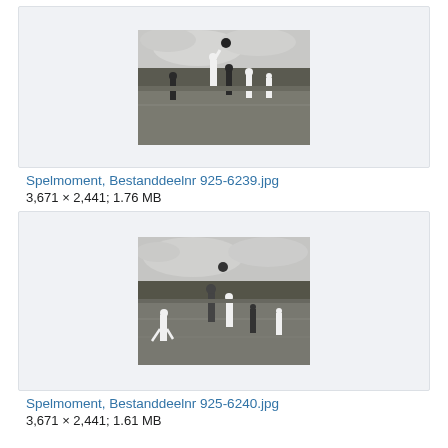[Figure (photo): Black and white photograph of a soccer/football match moment showing players jumping for a ball, with trees in the background]
Spelmoment, Bestanddeelnr 925-6239.jpg
3,671 × 2,441; 1.76 MB
[Figure (photo): Black and white photograph of a soccer/football match moment showing players on a field with a ball in the air, trees in background]
Spelmoment, Bestanddeelnr 925-6240.jpg
3,671 × 2,441; 1.61 MB